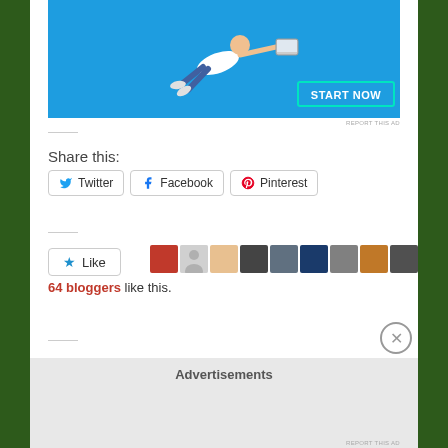[Figure (photo): Advertisement banner with blue background showing a man flying horizontally reaching forward, with a START NOW button]
REPORT THIS AD
Share this:
Twitter | Facebook | Pinterest (share buttons)
64 bloggers like this.
Posted on October 18, 2019
Advertisements
REPORT THIS AD